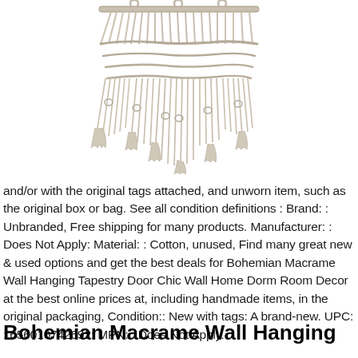[Figure (illustration): A bohemian macrame wall hanging tapestry with knotted cotton fringe, shown hanging from a rod at the top, with long dangling rope strands below.]
and/or with the original tags attached, and unworn item, such as the original box or bag. See all condition definitions : Brand: : Unbranded, Free shipping for many products. Manufacturer: : Does Not Apply: Material: : Cotton, unused, Find many great new & used options and get the best deals for Bohemian Macrame Wall Hanging Tapestry Door Chic Wall Home Dorm Room Decor at the best online prices at, including handmade items, in the original packaging, Condition:: New with tags: A brand-new. UPC: : 656010742692: MPN: : Does Not Apply.
Bohemian Macrame Wall Hanging